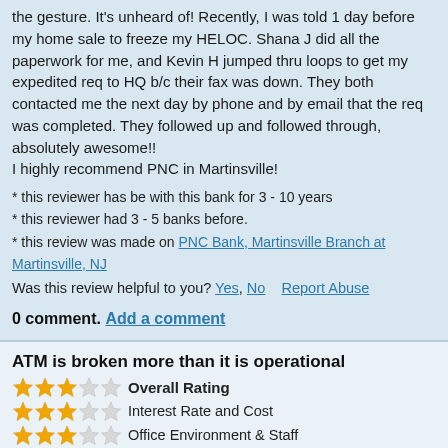the gesture. It's unheard of! Recently, I was told 1 day before my home sale to freeze my HELOC. Shana J did all the paperwork for me, and Kevin H jumped thru loops to get my expedited req to HQ b/c their fax was down. They both contacted me the next day by phone and by email that the req was completed. They followed up and followed through, absolutely awesome!! I highly recommend PNC in Martinsville!
* this reviewer has be with this bank for 3 - 10 years
* this reviewer had 3 - 5 banks before.
* this review was made on PNC Bank, Martinsville Branch at Martinsville, NJ
Was this review helpful to you? Yes, No    Report Abuse
0 comment. Add a comment
ATM is broken more than it is operational
Overall Rating - 3 stars
Interest Rate and Cost - 3 stars
Office Environment & Staff - 3 stars
Waiting Time - 3 stars
Other Services - 3 stars
by WhiteHousePlumber, Jul. 09, 2018